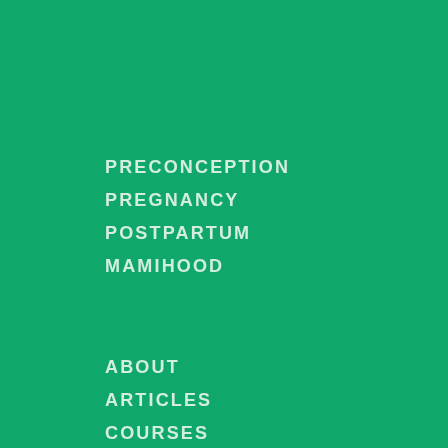PRECONCEPTION
PREGNANCY
POSTPARTUM
MAMIHOOD
ABOUT
ARTICLES
COURSES
CONTACT
DEFINITIVE GUIDES
FAVORITE PRODUCTS
PODCAST
PRIVACY
TERMS & CONDITIONS